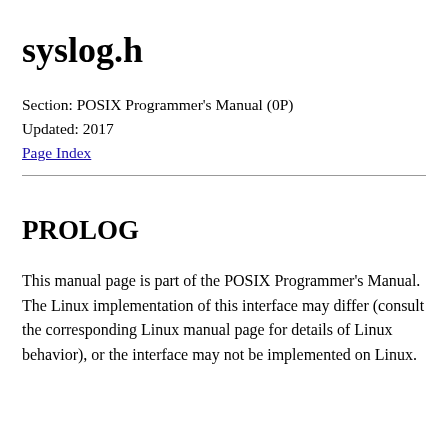syslog.h
Section: POSIX Programmer's Manual (0P)
Updated: 2017
Page Index
PROLOG
This manual page is part of the POSIX Programmer's Manual. The Linux implementation of this interface may differ (consult the corresponding Linux manual page for details of Linux behavior), or the interface may not be implemented on Linux.